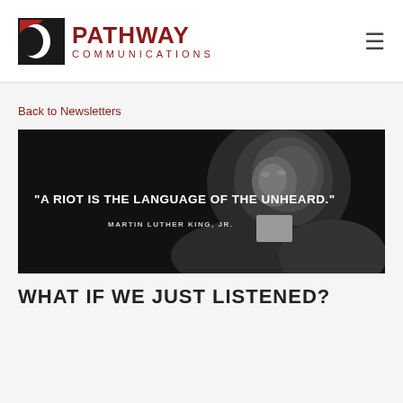PathWay Communications
Back to Newsletters
[Figure (photo): Black and white portrait photo of Martin Luther King Jr. with overlaid text quote: "A RIOT IS THE LANGUAGE OF THE UNHEARD." — MARTIN LUTHER KING, JR.]
WHAT IF WE JUST LISTENED?